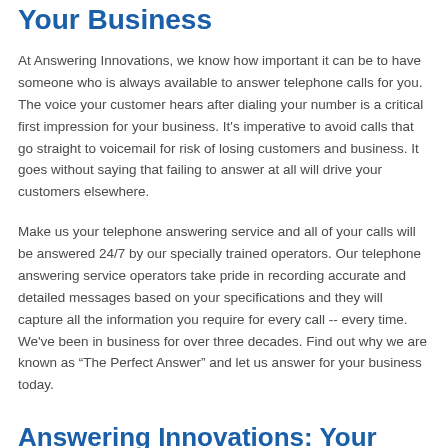Your Business
At Answering Innovations, we know how important it can be to have someone who is always available to answer telephone calls for you. The voice your customer hears after dialing your number is a critical first impression for your business. It's imperative to avoid calls that go straight to voicemail for risk of losing customers and business. It goes without saying that failing to answer at all will drive your customers elsewhere.
Make us your telephone answering service and all of your calls will be answered 24/7 by our specially trained operators. Our telephone answering service operators take pride in recording accurate and detailed messages based on your specifications and they will capture all the information you require for every call -- every time. We've been in business for over three decades. Find out why we are known as “The Perfect Answer” and let us answer for your business today.
Answering Innovations: Your Telephone Answering Service For ...